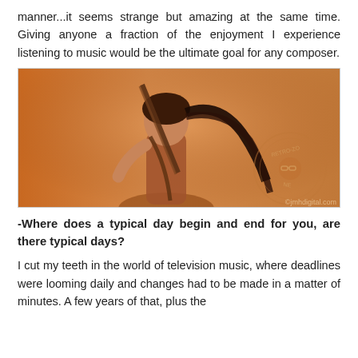manner...it seems strange but amazing at the same time. Giving anyone a fraction of the enjoyment I experience listening to music would be the ultimate goal for any composer.
[Figure (photo): Illustration or promotional artwork of a female warrior/adventurer character with a bow on her back, rendered in warm orange-brown tones. Watermark reads '©jmhdigital.com' in the lower right corner.]
-Where does a typical day begin and end for you, are there typical days?
I cut my teeth in the world of television music, where deadlines were looming daily and changes had to be made in a matter of minutes. A few years of that, plus the